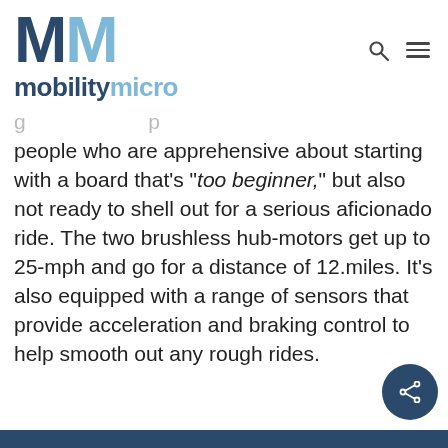[Figure (logo): MobilityMicro logo: two large M letters (dark blue and light blue) above the word 'mobilitymicro' in bold with dark blue 'mobility' and light blue 'micro']
people who are apprehensive about starting with a board that's "too beginner," but also not ready to shell out for a serious aficionado ride. The two brushless hub-motors get up to 25-mph and go for a distance of 12.miles. It's also equipped with a range of sensors that provide acceleration and braking control to help smooth out any rough rides.